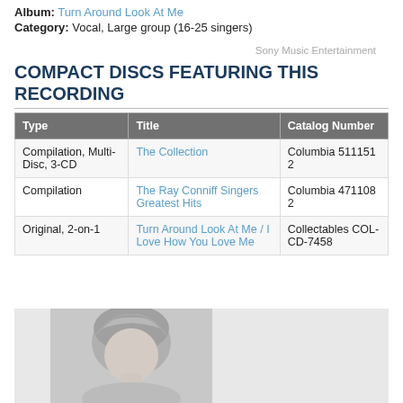Album: Turn Around Look At Me
Category: Vocal, Large group (16-25 singers)
Sony Music Entertainment
COMPACT DISCS FEATURING THIS RECORDING
| Type | Title | Catalog Number |
| --- | --- | --- |
| Compilation, Multi-Disc, 3-CD | The Collection | Columbia 511151 2 |
| Compilation | The Ray Conniff Singers Greatest Hits | Columbia 471108 2 |
| Original, 2-on-1 | Turn Around Look At Me / I Love How You Love Me | Collectables COL-CD-7458 |
[Figure (photo): Black and white portrait photo of a person with light-colored hair]